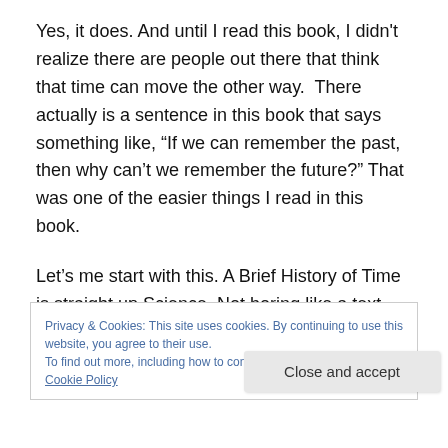Yes, it does. And until I read this book, I didn't realize there are people out there that think that time can move the other way.  There actually is a sentence in this book that says something like, “If we can remember the past, then why can’t we remember the future?” That was one of the easier things I read in this book.
Let’s me start with this. A Brief History of Time is straight up Science. Not boring like a text-book but strictly science all the same. My impressions of Stephen Hawking and this book before I read it was that he was going to be
Privacy & Cookies: This site uses cookies. By continuing to use this website, you agree to their use.
To find out more, including how to control cookies, see here: Cookie Policy